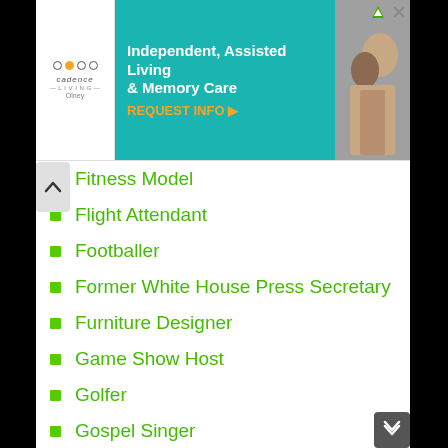[Figure (other): Advertisement banner for Cadence Living Olney — Independent, Assisted Living & Memory Care with REQUEST INFO call to action]
Fitness Model
Flight Attendant
Footballer
Former White House Press Secretary
Furniture Designer
Game Show Host
Golfer
Gospel Singer
Groupie
Guitarist
Gymnast
Hair Stylist